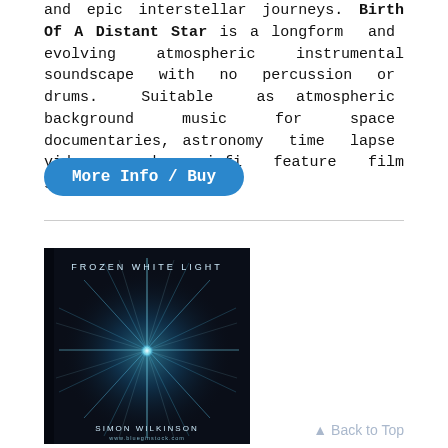and epic interstellar journeys. Birth Of A Distant Star is a longform and evolving atmospheric instrumental soundscape with no percussion or drums. Suitable as atmospheric background music for space documentaries, astronomy time lapse videos and sci-fi feature film soundtracks.
[Figure (other): A button labeled 'More Info / Buy' with a blue rounded rectangle background]
[Figure (photo): Album cover for 'Frozen White Light' by Simon Wilkinson. Dark background with a glowing blue star-shaped light burst. Text reads 'FROZEN WHITE LIGHT' at top and 'SIMON WILKINSON' and 'www.blueginstock.com' at bottom.]
▲ Back to Top